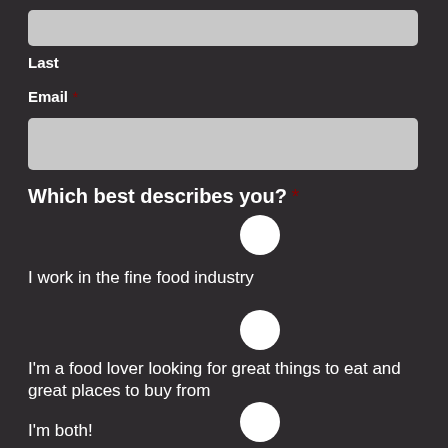[Figure (other): Text input field (Last name field)]
Last
Email *
[Figure (other): Text input field (Email field)]
Which best describes you? *
I work in the fine food industry
I'm a food lover looking for great things to eat and great places to buy from
I'm both!